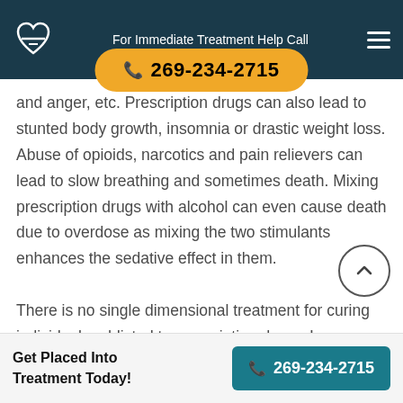For Immediate Treatment Help Call 269-234-2715
and anger, etc. Prescription drugs can also lead to stunted body growth, insomnia or drastic weight loss. Abuse of opioids, narcotics and pain relievers can lead to slow breathing and sometimes death. Mixing prescription drugs with alcohol can even cause death due to overdose as mixing the two stimulants enhances the sedative effect in them.

There is no single dimensional treatment for curing individuals addicted to prescription drugs. In our website one can find information of all prescription drugs addiction treatment centre in Oregon. In the treatment centers,
Get Placed Into Treatment Today! 269-234-2715